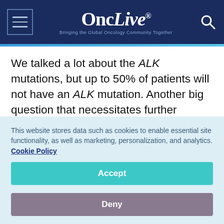OncLive — Bringing the Global Oncology Community Together
We talked a lot about the ALK mutations, but up to 50% of patients will not have an ALK mutation. Another big question that necessitates further investigation is whether that's due to the insensitivity of our testing methods or [whether] they have [an ALK mutation] and it was below our ability to detect.
This website stores data such as cookies to enable essential site functionality, as well as marketing, personalization, and analytics. Cookie Policy
Accept
Deny